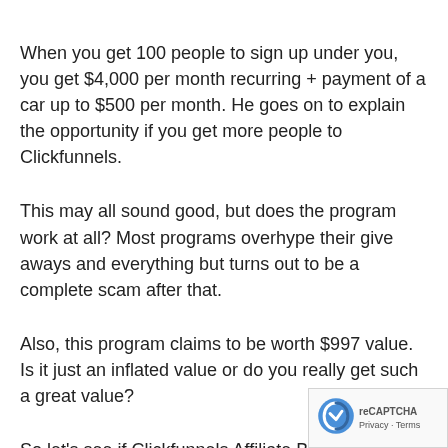When you get 100 people to sign up under you, you get $4,000 per month recurring + payment of a car up to $500 per month. He goes on to explain the opportunity if you get more people to Clickfunnels.
This may all sound good, but does the program work at all? Most programs overhype their give aways and everything but turns out to be a complete scam after that.
Also, this program claims to be worth $997 value. Is it just an inflated value or do you really get such a great value?
So let's see if Clickfunnels Affiliate Bootcamp is one of them with this review below!